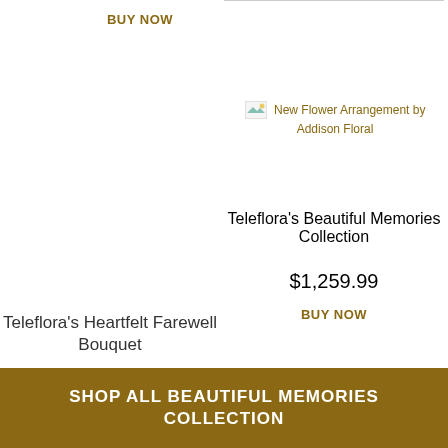BUY NOW
[Figure (other): Broken image placeholder with alt text: New Flower Arrangement by Addison Floral]
Teleflora's Beautiful Memories Collection
$1,259.99
BUY NOW
Teleflora's Heartfelt Farewell Bouquet
$109.99
BUY NOW
SHOP ALL BEAUTIFUL MEMORIES COLLECTION